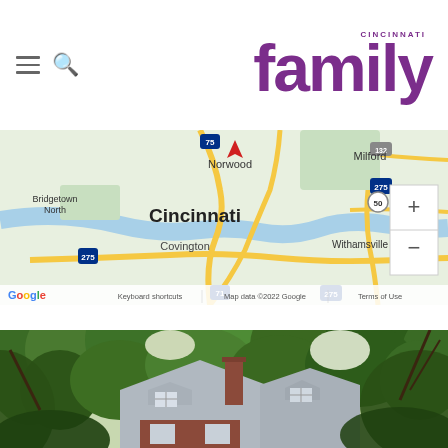Cincinnati Family — navigation header with hamburger menu, search icon, and Cincinnati Family logo
[Figure (map): Google Maps screenshot showing Cincinnati, Ohio area including Bridgetown North, Norwood, Milford, Covington, Withamsville, with highways 275, 75, 71, 50, 132 marked. Map data ©2022 Google. Keyboard shortcuts | Terms of Use labels at bottom.]
[Figure (photo): Outdoor photograph of a large brick colonial-style house with a slate roof, chimney, and dormer window, surrounded by lush green trees.]